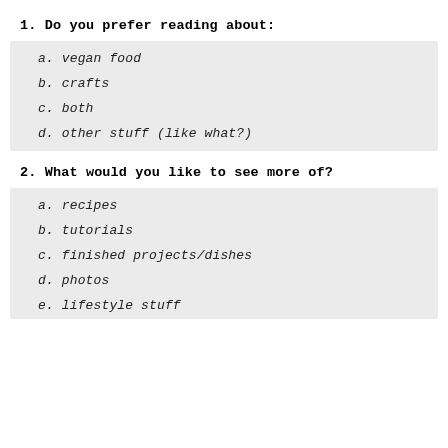1.  Do you prefer reading about:
a.  vegan food
b. crafts
c. both
d. other stuff (like what?)
2. What would you like to see more of?
a. recipes
b. tutorials
c. finished projects/dishes
d. photos
e. lifestyle stuff